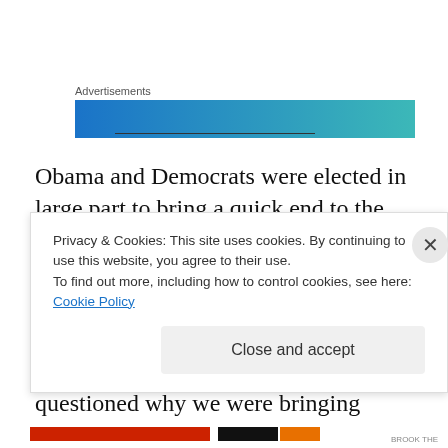[Figure (other): Advertisement banner with blue-to-teal gradient]
Obama and Democrats were elected in large part to bring a quick end to the Iraq War.  Not only did that war not end quickly and we're still fighting in Afghanistan, but he managed to send troops to Libya.  Republicans, who were against withdrawing from Iraq, questioned why we were bringing troops to Libya.  Once Gadaffi was removed,
Privacy & Cookies: This site uses cookies. By continuing to use this website, you agree to their use.
To find out more, including how to control cookies, see here: Cookie Policy
Close and accept